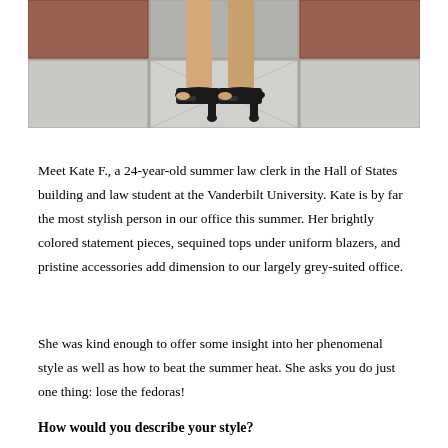[Figure (photo): Close-up photo of a woman's legs and feet wearing black open-toe high heels, standing on a tiled floor with grey and reddish-brown tiles.]
Meet Kate F., a 24-year-old summer law clerk in the Hall of States building and law student at the Vanderbilt University. Kate is by far the most stylish person in our office this summer. Her brightly colored statement pieces, sequined tops under uniform blazers, and pristine accessories add dimension to our largely grey-suited office.
She was kind enough to offer some insight into her phenomenal style as well as how to beat the summer heat. She asks you do just one thing: lose the fedoras!
How would you describe your style?